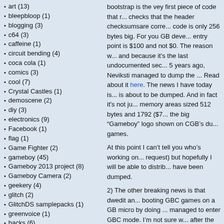art (13)
bleepbloop (1)
blogging (3)
c64 (3)
caffeine (1)
circuit bending (4)
coca cola (1)
comics (3)
cool (7)
Crystal Castles (1)
demoscene (2)
diy (3)
electronics (9)
Facebook (1)
flag (1)
Game Fighter (2)
gameboy (45)
Gameboy 2013 project (8)
Gameboy Camera (2)
geekery (4)
glitch (2)
GlitchDS samplepacks (1)
greenvoice (1)
hacks (6)
handcraft (1)
humour (1)
introduction (1)
IRC quotes (10)
javascript (2)
jose torres (1)
laughing matter (4)
ledboy (1)
lego (2)
LSDj (2)
microdisko (2)
mods (4)
Modular synth (3)
monotribe (2)
bootstrap is the vey first piece of code that runs, checks that the header checksumsare correct, and code is only 256 bytes big. For you GB devs, the entry point is $100 and not $0. The reason w... and because it's the last undocumented sec... 5 years ago, Neviksti managed to dump the ... Read about it here. The news I have today is ... is about to be dumped. And in fact it's not ju... memory areas sized 512 bytes and 1792 ($7... the big "Gameboy" logo shown on CGB's du... games.

At this point I can't tell you who's working on... request) but hopefully I will be able to distrib... have been dumped.

2) The other breaking news is that dwedit an... booting GBC games on a GB micro by doing ... managed to enter GBC mode. I'm not sure w... after the mode switch, but they've managed ... same bootstrap as mentioned above) I've tri... both showed a black screen but played the s... more info, and I'll try to do my own research... For now, check this thread on pH if you're int... http://boards.pocketheaven.com/viewtopic.p...